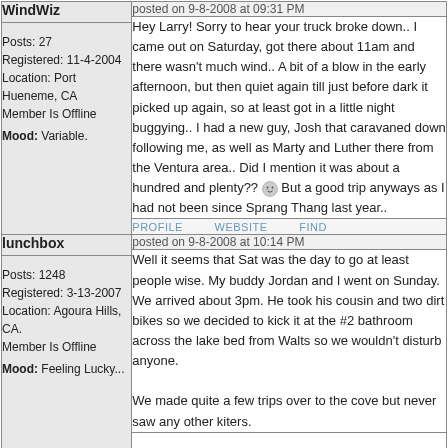WindWiz
posted on 9-8-2008 at 09:31 PM
Posts: 27
Registered: 11-4-2004
Location: Port Hueneme, CA
Member Is Offline
Mood: Variable.
Hey Larry! Sorry to hear your truck broke down.. I came out on Saturday, got there about 11am and there wasn't much wind.. A bit of a blow in the early afternoon, but then quiet again till just before dark it picked up again, so at least got in a little night buggying.. I had a new guy, Josh that caravaned down following me, as well as Marty and Luther there from the Ventura area.. Did I mention it was about a hundred and plenty?? But a good trip anyways as I had not been since Sprang Thang last year..
PROFILE   WEBSITE   FIND
lunchbox
posted on 9-8-2008 at 10:14 PM
Posts: 1248
Registered: 3-13-2007
Location: Agoura Hills, CA.
Member Is Offline
Mood: Feeling Lucky...
Well it seems that Sat was the day to go at least people wise. My buddy Jordan and I went on Sunday. We arrived about 3pm. He took his cousin and two dirt bikes so we decided to kick it at the #2 bathroom across the lake bed from Walts so we wouldn't disturb anyone.

We made quite a few trips over to the cove but never saw any other kiters.